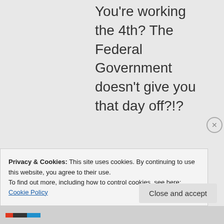You're working the 4th? The Federal Government doesn't give you that day off?!?
★ Like
↳ Reply
Privacy & Cookies: This site uses cookies. By continuing to use this website, you agree to their use. To find out more, including how to control cookies, see here: Cookie Policy
Close and accept